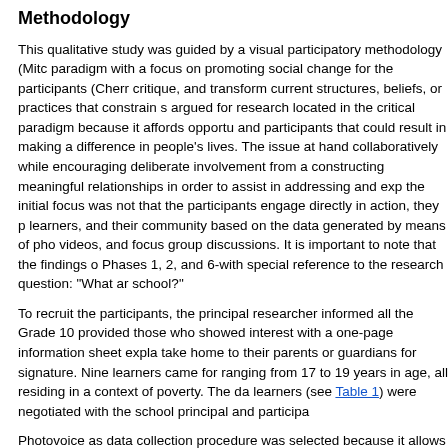Methodology
This qualitative study was guided by a visual participatory methodology (Mitc paradigm with a focus on promoting social change for the participants (Cherr critique, and transform current structures, beliefs, or practices that constrain s argued for research located in the critical paradigm because it affords opportu and participants that could result in making a difference in people's lives. The issue at hand collaboratively while encouraging deliberate involvement from a constructing meaningful relationships in order to assist in addressing and exp the initial focus was not that the participants engage directly in action, they p learners, and their community based on the data generated by means of pho videos, and focus group discussions. It is important to note that the findings o Phases 1, 2, and 6-with special reference to the research question: "What ar school?"
To recruit the participants, the principal researcher informed all the Grade 10 provided those who showed interest with a one-page information sheet expla take home to their parents or guardians for signature. Nine learners came for ranging from 17 to 19 years in age, all residing in a context of poverty. The da learners (see Table 1) were negotiated with the school principal and participa
Photovoice as data collection procedure was selected because it allows for th means of photographs (Capous-Desyllas & Bromfield, 2018), which in this ins become. As a data generation tool, photovoice affords persons from challeng circumstances, an opportunity to share their plight and living experiences wit a display of their visual artefacts (Community Tool Box, 2020). Given that the this approach enabled these secondary school youths to attach visual meani camera and printed photographs Mitchell et al., 2017), which could then be p the role of the public (Community Tool Box, 2020). In addition, the digital dim Spaces Using ICT Enabling Learning" that formed part of the larger project in